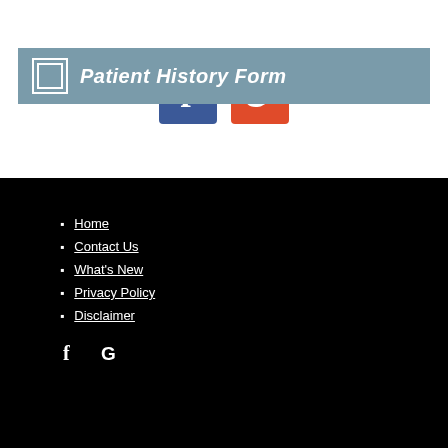Patient History Form
[Figure (logo): Facebook icon (blue square with white F) and Google icon (red/orange square with white G)]
Home
Contact Us
What's New
Privacy Policy
Disclaimer
[Figure (logo): Small Facebook (f) and Google (G) icons in white at bottom of black footer]
[Figure (other): Search bar at the very bottom with a red circular button on the right]